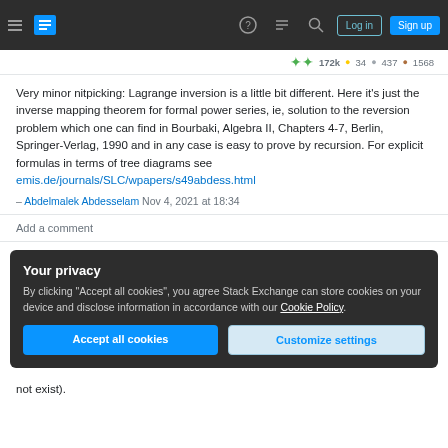Stack Exchange navigation bar with hamburger menu, logo, help, chat, search icons, Log in and Sign up buttons
172k • 34 • 437 • 1568
Very minor nitpicking: Lagrange inversion is a little bit different. Here it's just the inverse mapping theorem for formal power series, ie, solution to the reversion problem which one can find in Bourbaki, Algebra II, Chapters 4-7, Berlin, Springer-Verlag, 1990 and in any case is easy to prove by recursion. For explicit formulas in terms of tree diagrams see emis.de/journals/SLC/wpapers/s49abdess.html – Abdelmalek Abdesselam Nov 4, 2021 at 18:34
Add a comment
Your privacy
By clicking "Accept all cookies", you agree Stack Exchange can store cookies on your device and disclose information in accordance with our Cookie Policy.
Accept all cookies  Customize settings
not exist).